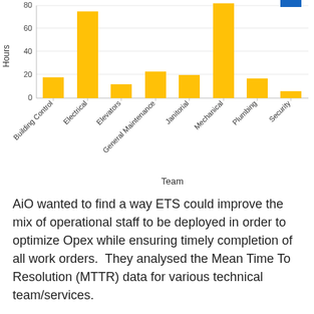[Figure (bar-chart): ]
AiO wanted to find a way ETS could improve the mix of operational staff to be deployed in order to optimize Opex while ensuring timely completion of all work orders.  They analysed the Mean Time To Resolution (MTTR) data for various technical team/services.